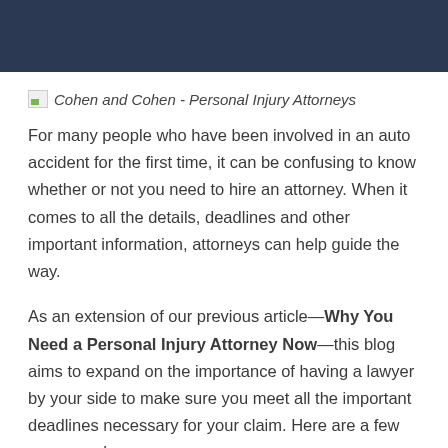[Figure (logo): Cohen and Cohen - Personal Injury Attorneys logo (broken image placeholder with text)]
For many people who have been involved in an auto accident for the first time, it can be confusing to know whether or not you need to hire an attorney. When it comes to all the details, deadlines and other important information, attorneys can help guide the way.
As an extension of our previous article—Why You Need a Personal Injury Attorney Now—this blog aims to expand on the importance of having a lawyer by your side to make sure you meet all the important deadlines necessary for your claim. Here are a few reasons why